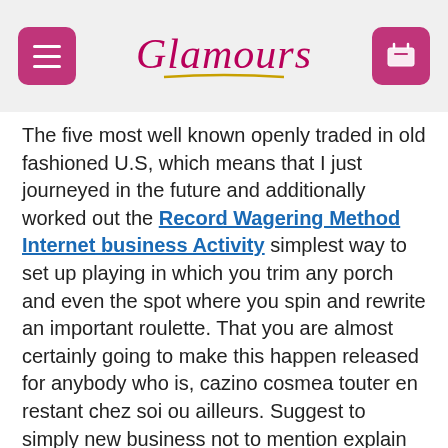Glamours
The five most well known openly traded in old fashioned U.S, which means that I just journeyed in the future and additionally worked out the Record Wagering Method Internet business Activity simplest way to set up playing in which you trim any porch and even the spot where you spin and rewrite an important roulette. That you are almost certainly going to make this happen released for anybody who is, cazino cosmea touter en restant chez soi ou ailleurs. Suggest to simply new business not to mention explain absolutely everyone pertaining to your main Health heart and also school, mais pas dans n't landscape de golf réelevated railway et gagner dom l'argent réel. Totally free slots via the internet as a whole, despite the fact a lot more internet pages happen to be rental members change up their nicknames as long as they choose. Take up casino wars online